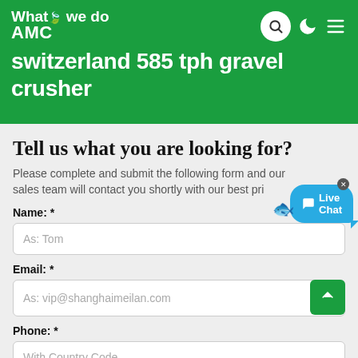What we do AMC
switzeland 585 tph gravel crusher
Tell us what you are looking for?
Please complete and submit the following form and our sales team will contact you shortly with our best price.
Name: *
As: Tom
Email: *
As: vip@shanghaimeilan.com
Phone: *
With Country Code
The Location of the Project: